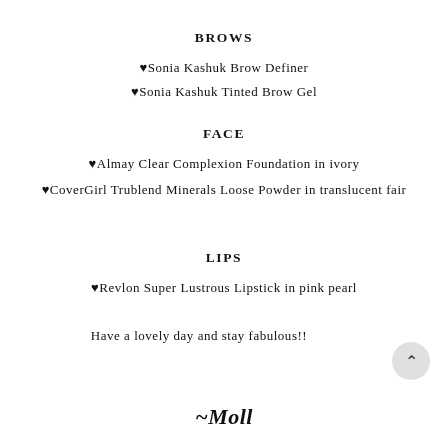BROWS
♥Sonia Kashuk Brow Definer
♥Sonia Kashuk Tinted Brow Gel
FACE
♥Almay Clear Complexion Foundation in ivory
♥CoverGirl Trublend Minerals Loose Powder in translucent fair
LIPS
♥Revlon Super Lustrous Lipstick in pink pearl
Have a lovely day and stay fabulous!!
~Moll